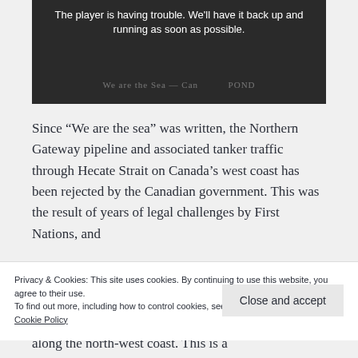[Figure (screenshot): Video player placeholder showing error message: 'The player is having trouble. We'll have it back up and running as soon as possible.' with dark background and faint watermark text.]
Since “We are the sea” was written, the Northern Gateway pipeline and associated tanker traffic through Hecate Strait on Canada’s west coast has been rejected by the Canadian government. This was the result of years of legal challenges by First Nations, and
Privacy & Cookies: This site uses cookies. By continuing to use this website, you agree to their use.
To find out more, including how to control cookies, see here:
Cookie Policy
along the north-west coast. This is a